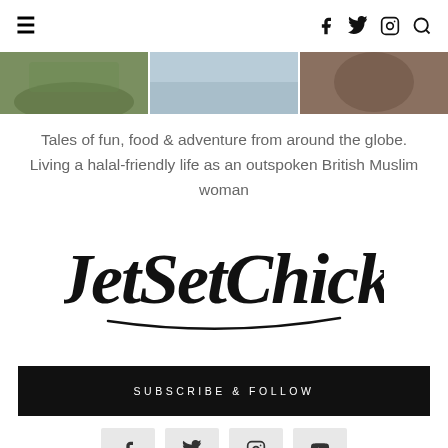Navigation bar with hamburger menu and social icons (Facebook, Twitter, Instagram, Search)
[Figure (photo): Three horizontal photo thumbnails showing outdoor/nature scenes]
Tales of fun, food & adventure from around the globe. Living a halal-friendly life as an outspoken British Muslim woman
[Figure (logo): JetSetChick cursive handwritten logo in black]
SUBSCRIBE & FOLLOW
[Figure (infographic): Social media follow buttons: Facebook, Twitter, Instagram, YouTube]